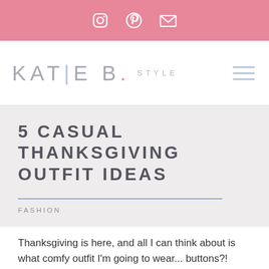Instagram | Pinterest | Email
[Figure (logo): Katie B. Style logo with navigation hamburger menu]
5 CASUAL THANKSGIVING OUTFIT IDEAS
FASHION
Thanksgiving is here, and all I can think about is what comfy outfit I'm going to wear... buttons?!